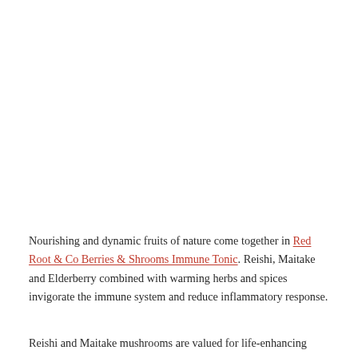Nourishing and dynamic fruits of nature come together in Red Root & Co Berries & Shrooms Immune Tonic. Reishi, Maitake and Elderberry combined with warming herbs and spices invigorate the immune system and reduce inflammatory response.
Reishi and Maitake mushrooms are valued for life-enhancing...